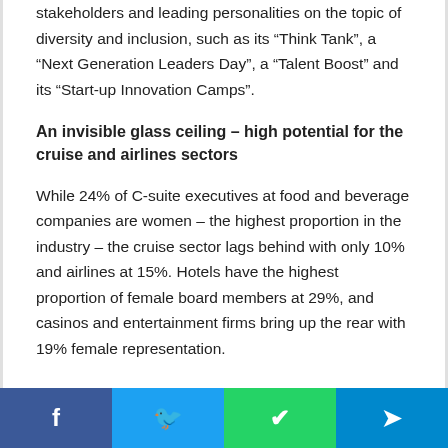stakeholders and leading personalities on the topic of diversity and inclusion, such as its “Think Tank”, a “Next Generation Leaders Day”, a “Talent Boost” and its “Start-up Innovation Camps”.
An invisible glass ceiling – high potential for the cruise and airlines sectors
While 24% of C-suite executives at food and beverage companies are women – the highest proportion in the industry – the cruise sector lags behind with only 10% and airlines at 15%. Hotels have the highest proportion of female board members at 29%, and casinos and entertainment firms bring up the rear with 19% female representation.
Social share bar: Facebook, Twitter, WhatsApp, Telegram